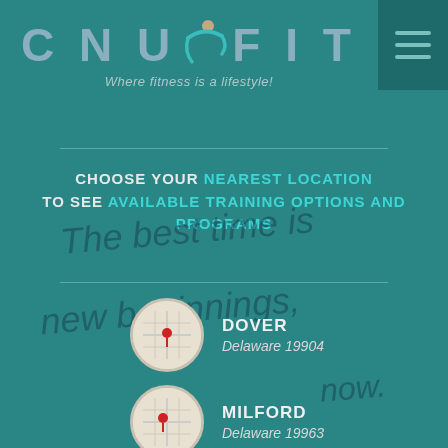[Figure (logo): CNU FIT logo with figure icon and tagline 'Where fitness is a lifestyle!']
CHOOSE YOUR NEAREST LOCATION TO SEE AVAILABLE TRAINING OPTIONS AND PROGRAMS
DOVER - Delaware 19904
MILFORD - Delaware 19963